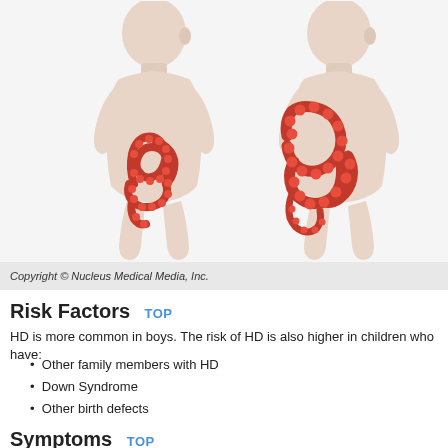[Figure (illustration): Two medical illustrations of toddlers showing intestinal anatomy. Left child shows normal colon (smaller, compact loops of large intestine). Right child shows enlarged/dilated colon (Hirschsprung disease), with significantly larger, distended bowel loops in the abdominal region.]
Copyright © Nucleus Medical Media, Inc.
Risk Factors   TOP
HD is more common in boys. The risk of HD is also higher in children who have:
Other family members with HD
Down Syndrome
Other birth defects
Symptoms   TOP